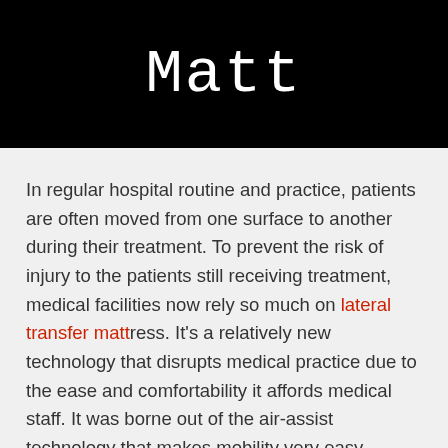Matt
In regular hospital routine and practice, patients are often moved from one surface to another during their treatment. To prevent the risk of injury to the patients still receiving treatment, medical facilities now rely so much on lateral transfer mattress. It's a relatively new technology that disrupts medical practice due to the ease and comfortability it affords medical staff. It was borne out of the air-assist technology that makes mobility very easy